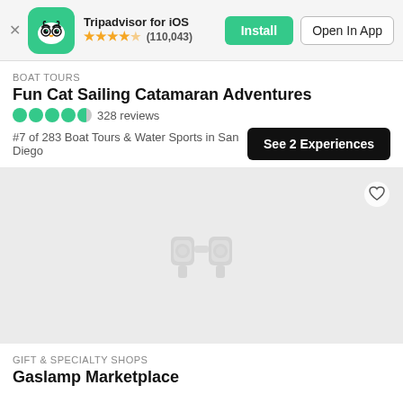[Figure (screenshot): Tripadvisor iOS app banner with green owl logo icon, star rating 4.5 stars, (110,043) reviews, Install button and Open In App button]
BOAT TOURS
Fun Cat Sailing Catamaran Adventures
328 reviews
#7 of 283 Boat Tours & Water Sports in San Diego
[Figure (illustration): Gray placeholder image area with binoculars icon in center and heart/favorite icon in top right corner]
GIFT & SPECIALTY SHOPS
Gaslamp Marketplace